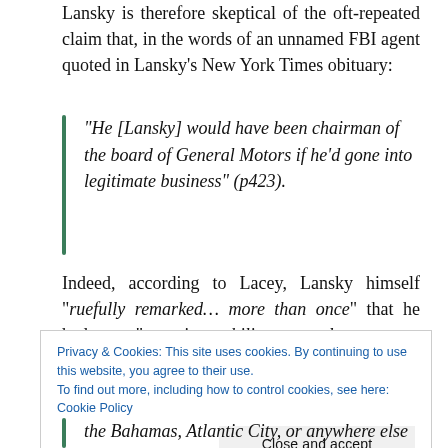Lansky is therefore skeptical of the oft-repeated claim that, in the words of an unnamed FBI agent quoted in Lansky's New York Times obituary:
“He [Lansky] would have been chairman of the board of General Motors if he’d gone into legitimate business” (p423).
Indeed, according to Lacey, Lansky himself “ruefully remarked… more than once” that he had an “unerring ability… to lose money whenever he went legit” (p296).
Privacy & Cookies: This site uses cookies. By continuing to use this website, you agree to their use.
To find out more, including how to control cookies, see here: Cookie Policy
Close and accept
the Bahamas, Atlantic City, or anywhere else